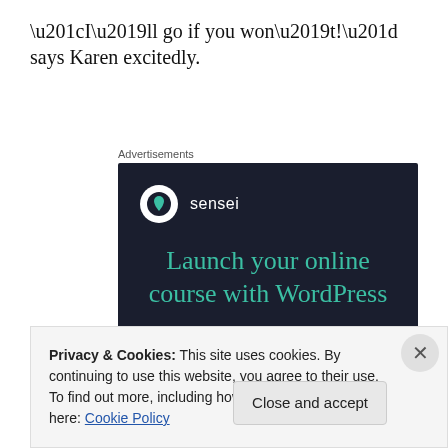“I’ll go if you won’t!” says Karen excitedly.
[Figure (illustration): Sensei advertisement banner with dark navy background. Shows the Sensei logo (white circle with tree icon and 'sensei' text). Headline reads 'Launch your online course with WordPress' in teal. A teal 'Learn More' button is shown.]
Privacy & Cookies: This site uses cookies. By continuing to use this website, you agree to their use.
To find out more, including how to control cookies, see here: Cookie Policy